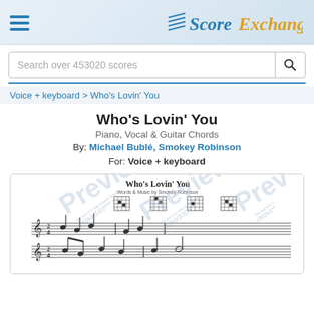Score Exchange
Search over 453020 scores
Voice + keyboard > Who's Lovin' You
Who's Lovin' You
Piano, Vocal & Guitar Chords
By: Michael Bublé, Smokey Robinson
For: Voice + keyboard
[Figure (illustration): Sheet music preview of 'Who's Lovin' You' by Smokey Robinson with 'Preview' watermark overlay. Shows musical notation with guitar chord diagrams and a treble clef staff with notes.]